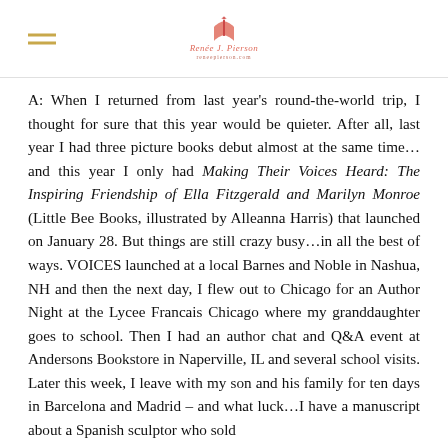[Logo: Renee J. Pierson]
A: When I returned from last year's round-the-world trip, I thought for sure that this year would be quieter. After all, last year I had three picture books debut almost at the same time…and this year I only had Making Their Voices Heard: The Inspiring Friendship of Ella Fitzgerald and Marilyn Monroe (Little Bee Books, illustrated by Alleanna Harris) that launched on January 28. But things are still crazy busy…in all the best of ways. VOICES launched at a local Barnes and Noble in Nashua, NH and then the next day, I flew out to Chicago for an Author Night at the Lycee Francais Chicago where my granddaughter goes to school. Then I had an author chat and Q&A event at Andersons Bookstore in Naperville, IL and several school visits. Later this week, I leave with my son and his family for ten days in Barcelona and Madrid – and what luck…I have a manuscript about a Spanish sculptor who sold